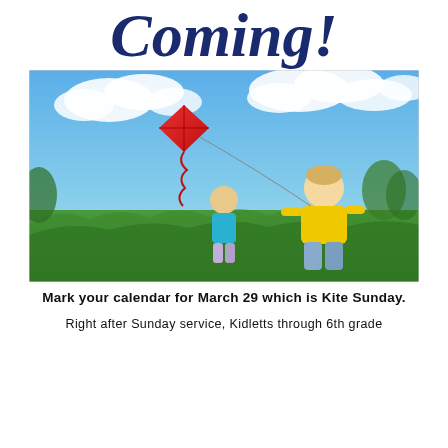Coming!
[Figure (photo): Child in yellow shirt running in a green field flying a red kite, adult in background, blue sky with clouds]
Mark your calendar for March 29 which is Kite Sunday.
Right after Sunday service, Kidletts through 6th grade